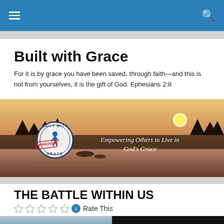Navigation bar with menu and search icons
Built with Grace
For it is by grace you have been saved, through faith—and this is not from yourselves, it is the gift of God. Ephesians 2:8
[Figure (photo): Sunset landscape over a lake with pine trees. Overlay shows 'Built with Grace' circular logo with 'APPROVED' stamp and italic text 'Empowering Others to Live in God's Grace']
THE BATTLE WITHIN US
Rate This